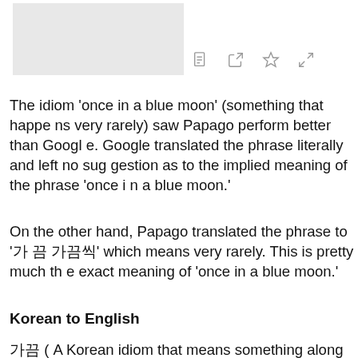[Figure (other): Gray placeholder image block in the upper left of the page]
[Figure (other): Icon bar with four icons: text/document icon, share icon, star/bookmark icon, and expand/fullscreen icon]
The idiom 'once in a blue moon' (something that happens very rarely) saw Papago perform better than Google. Google translated the phrase literally and left no suggestion as to the implied meaning of the phrase 'once in a blue moon.'
On the other hand, Papago translated the phrase to '가끔씩' which means very rarely. This is pretty much the exact meaning of 'once in a blue moon.'
Korean to English
가끔 ( A Korean idiom that means something along th